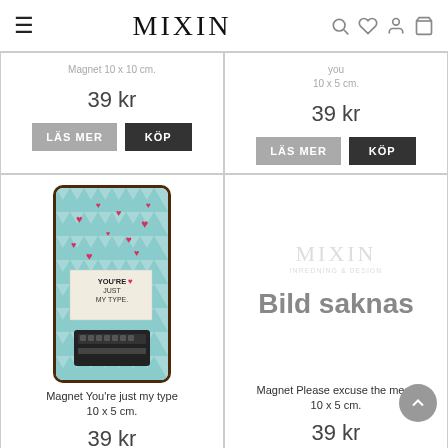MIXIN
10 x 5 cm.
39 kr
LÄS MER  KÖP
you
10 x 5 cm.
39 kr
LÄS MER  KÖP
[Figure (photo): Magnet with typewriter design and hearts, light blue triangle background, text reads YOU'RE JUST MY TYPE]
Magnet You're just my type
10 x 5 cm.
39 kr
[Figure (other): Bild saknas placeholder with MIXIN watermark logo]
Magnet Please excuse the mess
10 x 5 cm.
39 kr